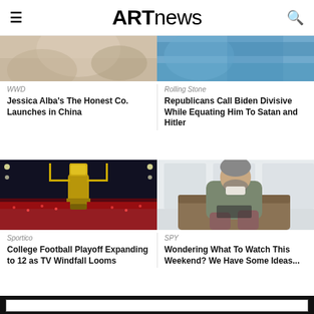ARTnews
[Figure (photo): Partial image from WWD article about Jessica Alba's The Honest Co. — top portion visible]
[Figure (photo): Partial image from Rolling Stone article about Republicans — top portion visible, blue background]
WWD
Jessica Alba's The Honest Co. Launches in China
Rolling Stone
Republicans Call Biden Divisive While Equating Him To Satan and Hitler
[Figure (photo): Football stadium with College Football Playoff trophy in foreground, night game crowd visible]
[Figure (photo): Steve Carell seated in a chair wearing a grey cardigan, indoor setting]
Sportico
College Football Playoff Expanding to 12 as TV Windfall Looms
SPY
Wondering What To Watch This Weekend? We Have Some Ideas...